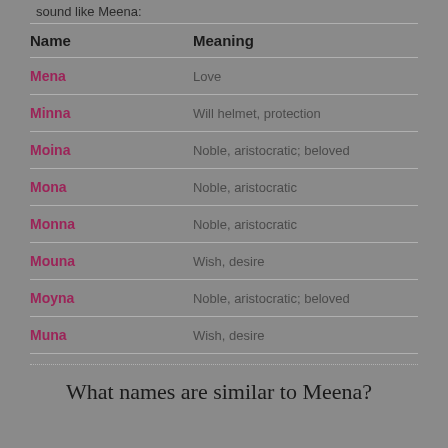sound like Meena:
| Name | Meaning |
| --- | --- |
| Mena | Love |
| Minna | Will helmet, protection |
| Moina | Noble, aristocratic; beloved |
| Mona | Noble, aristocratic |
| Monna | Noble, aristocratic |
| Mouna | Wish, desire |
| Moyna | Noble, aristocratic; beloved |
| Muna | Wish, desire |
What names are similar to Meena?